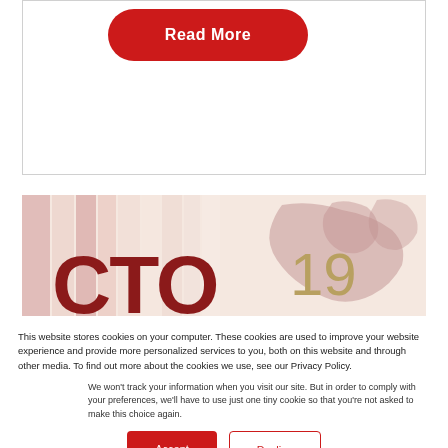[Figure (screenshot): Red rounded rectangle button labeled 'Read More' in white bold text, on a white card background]
[Figure (screenshot): CTO 2019 banner image with large dark red 'CTO' text, gold '19' numeral, and a faded map of Scandinavia/Europe on a pink/beige striped background]
This website stores cookies on your computer. These cookies are used to improve your website experience and provide more personalized services to you, both on this website and through other media. To find out more about the cookies we use, see our Privacy Policy.
We won't track your information when you visit our site. But in order to comply with your preferences, we'll have to use just one tiny cookie so that you're not asked to make this choice again.
Accept
Decline